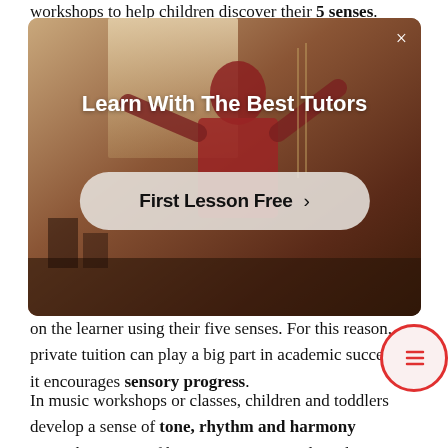workshops to help children discover their 5 senses.
[Figure (screenshot): Advertisement overlay showing a person playing a string instrument in a warm-toned room. Text reads 'Learn With The Best Tutors' with a 'First Lesson Free >' button. A close (×) button is in the top right corner.]
on the learner using their five senses. For this reason, private tuition can play a big part in academic success as it encourages sensory progress.
In music workshops or classes, children and toddlers develop a sense of tone, rhythm and harmony using their sense of hearing. Music introduce their students to the basics of music theory and how to play a given instrument.